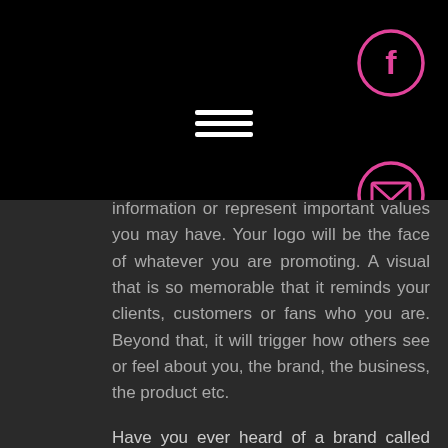[Figure (screenshot): Black navigation bar with hamburger menu icon (three white horizontal lines) centered, Facebook circle icon (pink outline, pink 'f') top right, email/envelope circle icon (pink outline, pink envelope) right side]
information or represent important values you may have. Your logo will be the face of whatever you are promoting. A visual that is so memorable that it reminds your clients, customers or fans who you are. Beyond that, it will trigger how others see or feel about you, the brand, the business, the product etc.
Have you ever heard of a brand called Coco Cola? Of course you have. Whether you drink